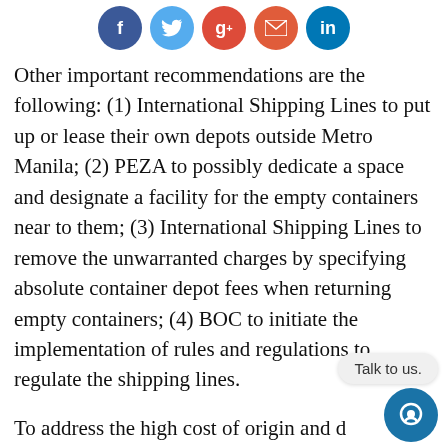[Figure (other): Social media share buttons: Facebook (blue circle), Twitter (light blue circle), Google+ (red circle), Email (orange-red circle), LinkedIn (teal circle)]
Other important recommendations are the following: (1) International Shipping Lines to put up or lease their own depots outside Metro Manila; (2) PEZA to possibly dedicate a space and designate a facility for the empty containers near to them; (3) International Shipping Lines to remove the unwarranted charges by specifying absolute container depot fees when returning empty containers; (4) BOC to initiate the implementation of rules and regulations to regulate the shipping lines.
To address the high cost of origin and destination charges of international shipping lines, the Export Development Council (EDC) together with other stakeholders endorsed a draft bill entitled "An Act establishing guidelines for the application of local charges (origin and destination fees) imposed by